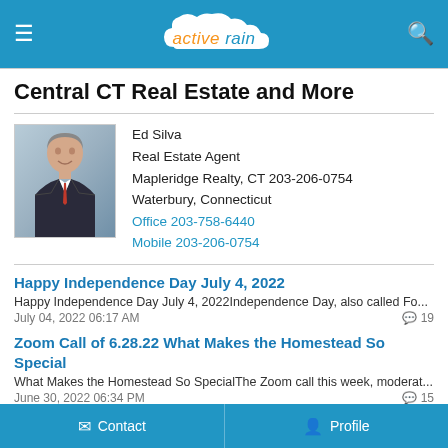activerain (navigation bar with hamburger menu and search icon)
Central CT Real Estate and More
Ed Silva
Real Estate Agent
Mapleridge Realty, CT 203-206-0754
Waterbury, Connecticut
Office 203-758-6440
Mobile 203-206-0754
Happy Independence Day July 4, 2022
Happy Independence Day July 4, 2022Independence Day, also called Fo...
July 04, 2022 06:17 AM  19
Zoom Call of 6.28.22 What Makes the Homestead So Special
What Makes the Homestead So SpecialThe Zoom call this week, moderat...
June 30, 2022 06:34 PM  15
June 2022 Market Trends For Waterbury CT's West End Side, Zip 06708
June 2022 Market Trends For Waterbury CT's West End Side, Zip 06708
Contact   Profile